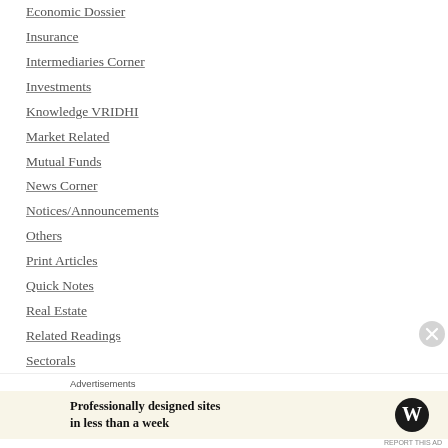Economic Dossier
Insurance
Intermediaries Corner
Investments
Knowledge VRIDHI
Market Related
Mutual Funds
News Corner
Notices/Announcements
Others
Print Articles
Quick Notes
Real Estate
Related Readings
Sectorals
Stock Specifics
Advertisements
Professionally designed sites in less than a week